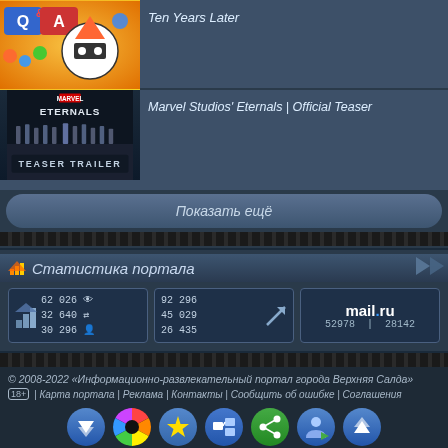[Figure (screenshot): Video thumbnail: Q&A with cartoon character]
Ten Years Later
[Figure (screenshot): Eternals Teaser Trailer thumbnail]
Marvel Studios' Eternals | Official Teaser
Показать ещё
Статистика портала
[Figure (infographic): Counter: 62 026 views, 32 640 sessions, 30 296 users]
[Figure (infographic): Counter: 92 296, 45 029, 26 435 with arrow]
[Figure (logo): mail.ru logo with counts 52978 | 28142]
© 2008-2022 «Информационно-развлекательный портал города Верхняя Салда»
18+ | Карта портала | Реклама | Контакты | Сообщить об ошибке | Соглашения